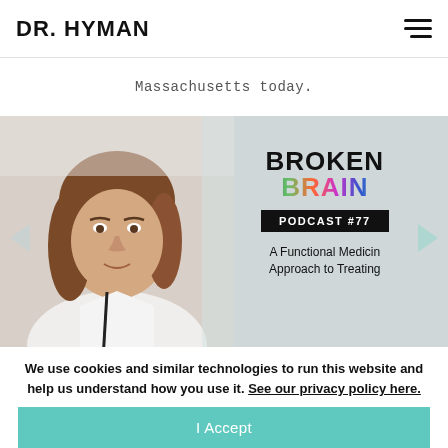DR. HYMAN
Massachusetts today.
[Figure (screenshot): Broken Brain Podcast #77 promotional card showing a woman with brown hair on the left, and the Broken Brain podcast logo with PODCAST #77 badge and subtitle 'A Functional Medicine Approach to Treating' on the right. Navigation arrows are visible on left and right sides.]
We use cookies and similar technologies to run this website and help us understand how you use it. See our privacy policy here.
I Accept